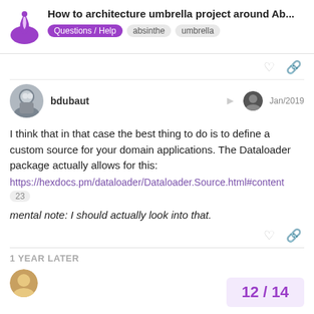How to architecture umbrella project around Ab... | Questions / Help | absinthe | umbrella
bdubaut Jan/2019
I think that in that case the best thing to do is to define a custom source for your domain applications. The Dataloader package actually allows for this:
https://hexdocs.pm/dataloader/Dataloader.Source.html#content
23
mental note: I should actually look into that.
1 YEAR LATER
12 / 14